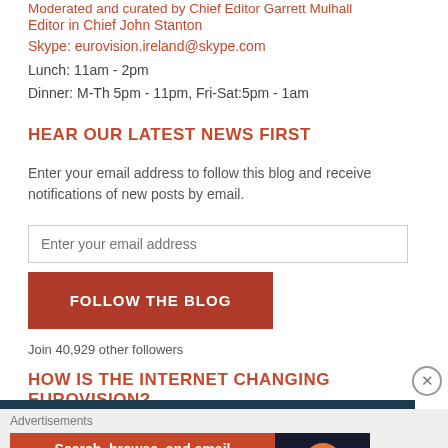Moderated and curated by Chief Editor Garrett Mulhall
Editor in Chief John Stanton
Skype: eurovision.ireland@skype.com
Lunch: 11am - 2pm
Dinner: M-Th 5pm - 11pm, Fri-Sat:5pm - 1am
HEAR OUR LATEST NEWS FIRST
Enter your email address to follow this blog and receive notifications of new posts by email.
Enter your email address
FOLLOW THE BLOG
Join 40,929 other followers
HOW IS THE INTERNET CHANGING EUROVISION?
Advertisements
Search, browse, and email with more privacy. All in One Free App DuckDuckGo